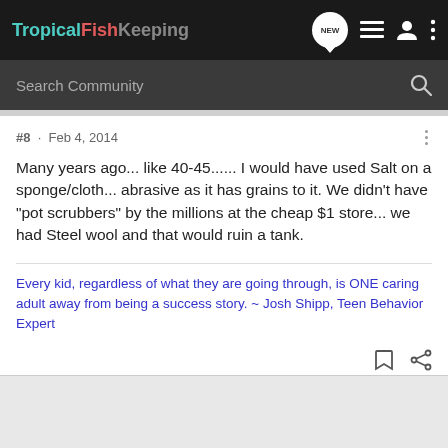TropicalFishKeeping
Search Community
#8 · Feb 4, 2014
Many years ago... like 40-45...... I would have used Salt on a sponge/cloth... abrasive as it has grains to it. We didn't have "pot scrubbers" by the millions at the cheap $1 store... we had Steel wool and that would ruin a tank.
Every kid, regardless of what they are going through, is ONE caring adult away from being a success story. ~ Josh Shipp, Teen Behavior Expert